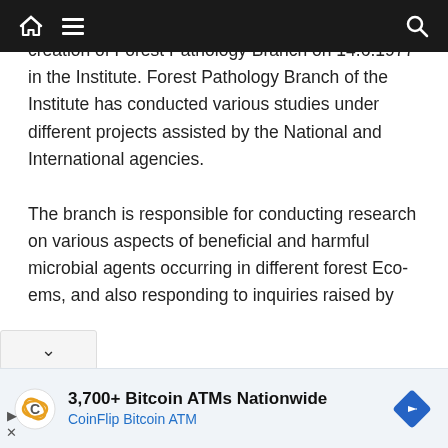Navigation bar with home, menu, and search icons
and quality of forest produce was started with the creation of Forest Pathology Branch on 14.6.1977 in the Institute. Forest Pathology Branch of the Institute has conducted various studies under different projects assisted by the National and International agencies.
The branch is responsible for conducting research on various aspects of beneficial and harmful microbial agents occurring in different forest Eco-ems, and also responding to inquiries raised by
[Figure (other): Advertisement banner: 3,700+ Bitcoin ATMs Nationwide - CoinFlip Bitcoin ATM, with CoinFlip logo and navigation arrow icon]